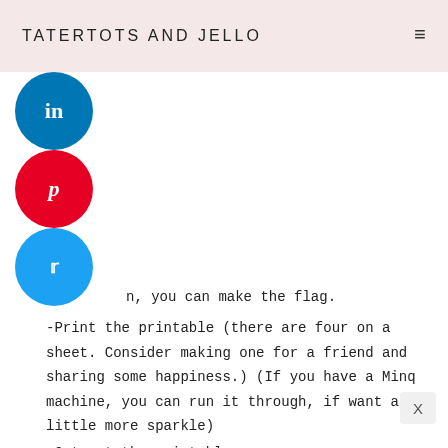TATERTOTS AND JELLO
n, you can make the flag.
-Print the printable (there are four on a sheet. Consider making one for a friend and sharing some happiness.) (If you have a Minq machine, you can run it through, if want a little more sparkle)
-Cut out the printable
-Cut fabric (or heavy paper) 4” by 14”
-Fold the fabric and cut the end to look like a